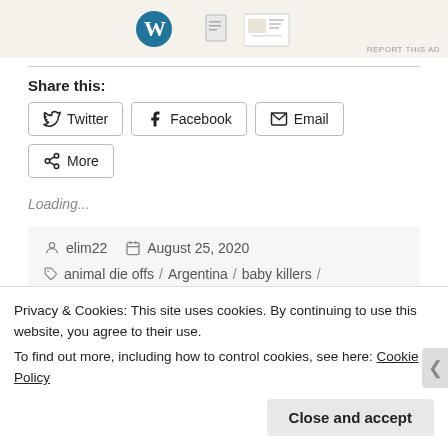[Figure (screenshot): Ad banner showing WordPress logo and document template images]
Share this:
Twitter
Facebook
Email
More
Loading...
elim22   August 25, 2020
animal die offs / Argentina / baby killers / baby murderers / Bible prophecy /
Privacy & Cookies: This site uses cookies. By continuing to use this website, you agree to their use.
To find out more, including how to control cookies, see here: Cookie Policy
Close and accept